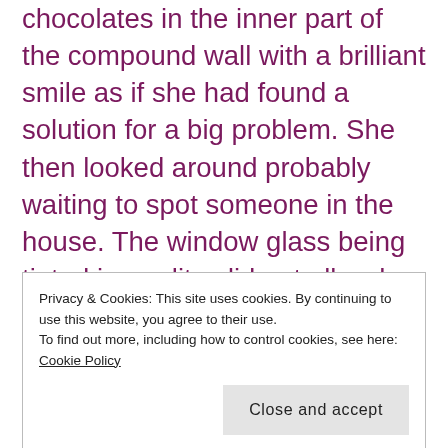chocolates in the inner part of the compound wall with a brilliant smile as if she had found a solution for a big problem. She then looked around probably waiting to spot someone in the house. The window glass being tinted in quality, did not allow her to see inside. They calmly went away. I was smiling with joy even when my pretty rose was harshly plucked by the girl! I went out and collected the chocolates she had left as her token of
Privacy & Cookies: This site uses cookies. By continuing to use this website, you agree to their use.
To find out more, including how to control cookies, see here: Cookie Policy